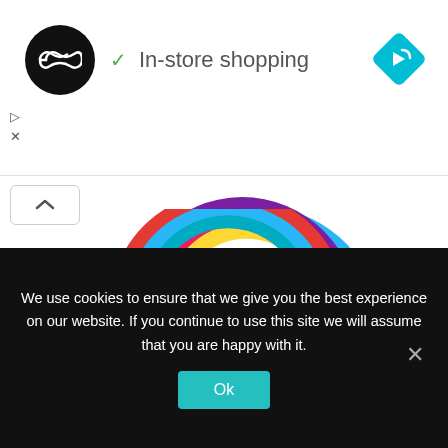[Figure (logo): Black circular logo with infinity-like double arrow symbol (Canva or similar brand logo)]
✓ In-store shopping
[Figure (logo): Blue diamond-shaped navigation/directions icon with white arrow]
[Figure (illustration): Colorful arc/rainbow semicircle with purple, blue, pink, yellow bands forming a partial donut shape, with a blue teardrop/pointer at bottom]
Click
to
customize
[Figure (illustration): Bottom portion of another colorful rainbow arc with red, blue, teal bands]
We use cookies to ensure that we give you the best experience on our website. If you continue to use this site we will assume that you are happy with it.